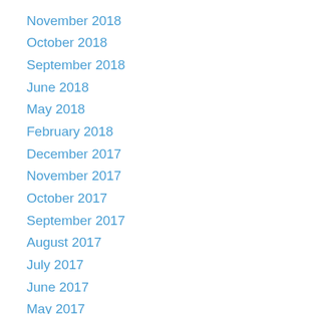November 2018
October 2018
September 2018
June 2018
May 2018
February 2018
December 2017
November 2017
October 2017
September 2017
August 2017
July 2017
June 2017
May 2017
April 2017
March 2017
February 2017
January 2017
December 2016
November 2016